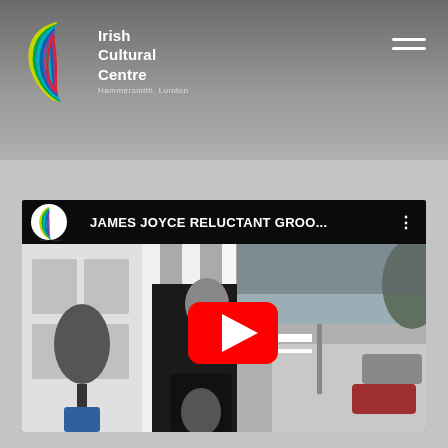[Figure (logo): Irish Cultural Centre logo with colorful harp icon and text 'Irish Cultural Centre' in white on dark header bar]
[Figure (screenshot): YouTube video thumbnail showing a man holding a book on a street, with the title 'JAMES JOYCE RELUCTANT GROO...' and an Irish Cultural Centre logo in the top-left corner of the video player, with a large red YouTube play button in the center]